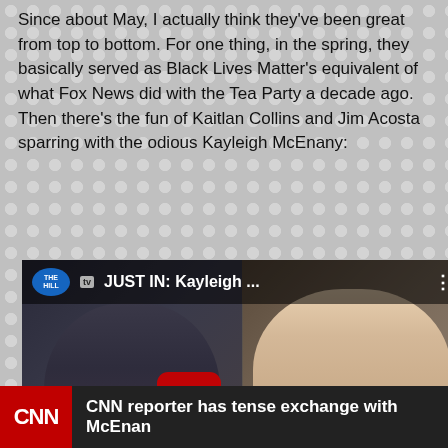Since about May, I actually think they've been great from top to bottom. For one thing, in the spring, they basically served as Black Lives Matter's equivalent of what Fox News did with the Tea Party a decade ago. Then there's the fun of Kaitlan Collins and Jim Acosta sparring with the odious Kayleigh McEnany:
[Figure (screenshot): YouTube video thumbnail showing 'JUST IN: Kayleigh ...' from The Hill TV, with two people (Jim Acosta on left in suit, Kayleigh McEnany on right with blonde hair) and a red YouTube play button in the center]
[Figure (screenshot): CNN broadcast bar at the bottom showing CNN logo in red and headline 'CNN reporter has tense exchange with McEnany']